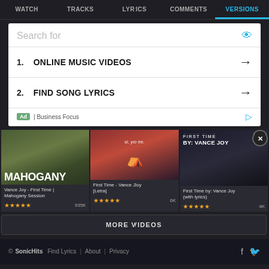WATCH | TRACKS | LYRICS | COMMENTS | VERSIONS
[Figure (screenshot): Advertisement box with search bar showing 'Search for', two list items: 1. ONLINE MUSIC VIDEOS, 2. FIND SONG LYRICS, and footer showing 'Ad | Business Focus']
[Figure (photo): Three video thumbnails: Vance Joy - First Time | Mahogany Session (935K views, 5 stars), First Time - Vance Joy [Letra] (6K views, 5 stars), First Time by: Vance Joy (with lyrics) (4K views, 5 stars)]
MORE VIDEOS
© SonicHits  Find Lyrics | About | Privacy